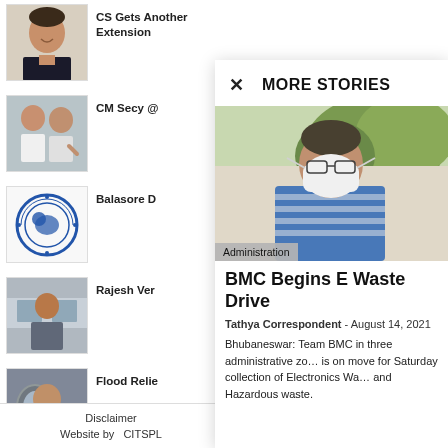[Figure (photo): Thumbnail of man smiling, sidebar item 1 - CS Gets Another Extension]
CS Gets Another Extension
[Figure (photo): Thumbnail of two men, sidebar item 2 - CM Secy @]
CM Secy @
[Figure (logo): Blue circular government seal/emblem - Balasore D]
Balasore D
[Figure (photo): Thumbnail of man in office - Rajesh Ver]
Rajesh Ver
[Figure (photo): Thumbnail of person in vehicle/aircraft - Flood Relie]
Flood Relie
Disclaimer
Website by  CITSPL
MORE STORIES
[Figure (photo): Man wearing face mask outdoors, with trees in background. Badge reads Administration.]
BMC Begins E Waste Drive
Tathya Correspondent - August 14, 2021
Bhubaneswar: Team BMC in three administrative zones is on move for Saturday collection of Electronics Waste and Hazardous waste.